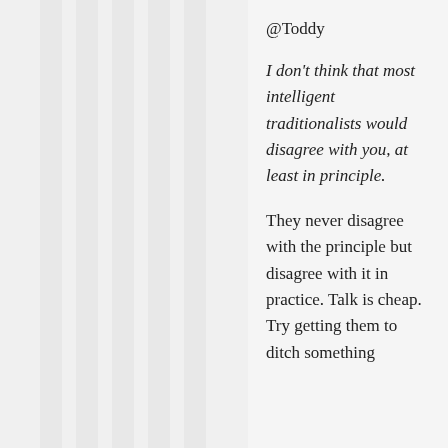@Toddy
I don't think that most intelligent traditionalists would disagree with you, at least in principle.
They never disagree with the principle but disagree with it in practice. Talk is cheap. Try getting them to ditch something